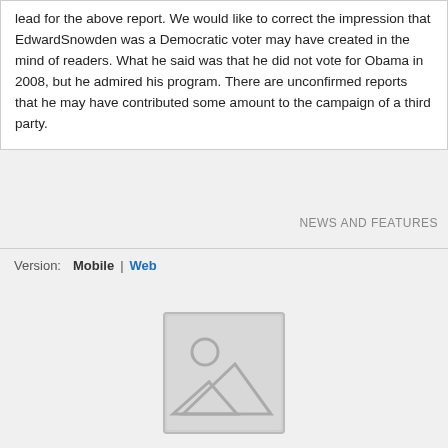lead for the above report. We would like to correct the impression that EdwardSnowden was a Democratic voter may have created in the mind of readers. What he said was that he did not vote for Obama in 2008, but he admired his program. There are unconfirmed reports that he may have contributed some amount to the campaign of a third party.
NEWS AND FEATURES
Version:   Mobile | Web
[Figure (illustration): Placeholder image icon — grey square with a circle and mountain/triangle shapes inside, representing an image placeholder.]